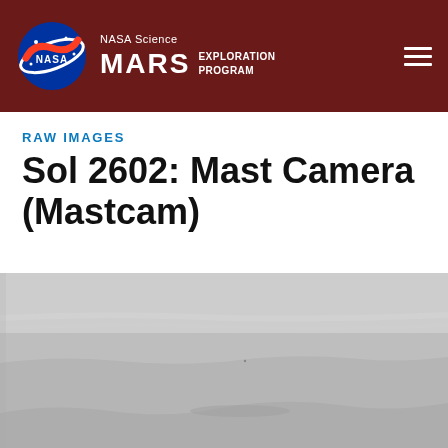NASA Science MARS EXPLORATION PROGRAM
RAW IMAGES
Sol 2602: Mast Camera (Mastcam)
[Figure (photo): Raw grayscale image from Mastcam on Sol 2602, showing a hazy Martian surface landscape with subtle terrain features and a muted sky.]